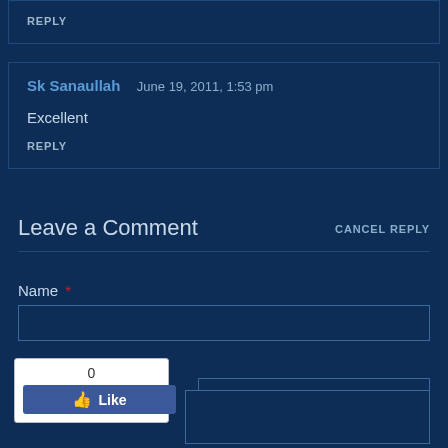REPLY
Sk Sanaullah   June 19, 2011, 1:53 pm
Excellent
REPLY
Leave a Comment
CANCEL REPLY
Name *
Email
[Figure (other): Facebook Like button widget showing count of 0 and a Like button with thumbs up icon]